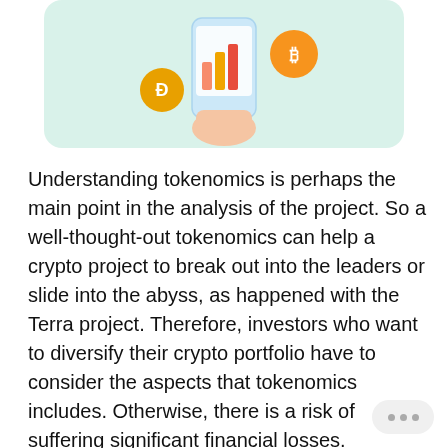[Figure (illustration): Illustration of a hand holding a smartphone with bar chart, surrounded by cryptocurrency coin icons (Dogecoin and Bitcoin) on a mint green rounded rectangle background.]
Understanding tokenomics is perhaps the main point in the analysis of the project. So a well-thought-out tokenomics can help a crypto project to break out into the leaders or slide into the abyss, as happened with the Terra project. Therefore, investors who want to diversify their crypto portfolio have to consider the aspects that tokenomics includes. Otherwise, there is a risk of suffering significant financial losses.